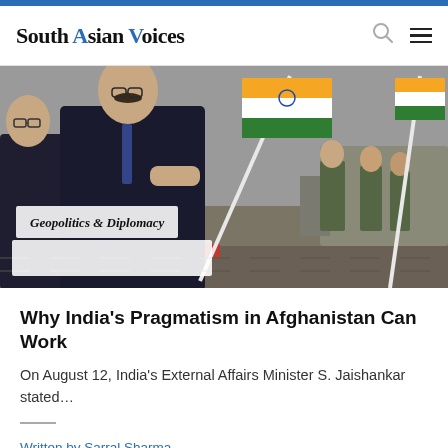South Asian Voices
[Figure (photo): Official in dark suit holding Indian flag, with other dignitaries and military personnel in background, outdoor ceremony with red carpet]
Geopolitics & Diplomacy
Why India's Pragmatism in Afghanistan Can Work
On August 12, India's External Affairs Minister S. Jaishankar stated…
Written by Sarral Sharma